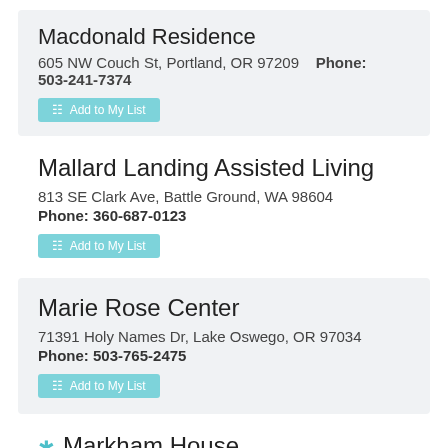Macdonald Residence
605 NW Couch St, Portland, OR 97209    Phone: 503-241-7374
Add to My List
Mallard Landing Assisted Living
813 SE Clark Ave, Battle Ground, WA 98604
Phone: 360-687-0123
Add to My List
Marie Rose Center
71391 Holy Names Dr, Lake Oswego, OR 97034
Phone: 503-765-2475
Add to My List
Markham House
10606 SW Capitol Hwy, Portland, OR 97219